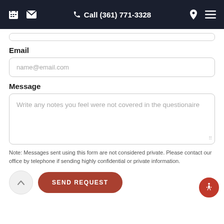Call (361) 771-3328
Email
name@email.com
Message
Write any notes you feel were not covered in the questionaire
Note: Messages sent using this form are not considered private. Please contact our office by telephone if sending highly confidential or private information.
SEND REQUEST